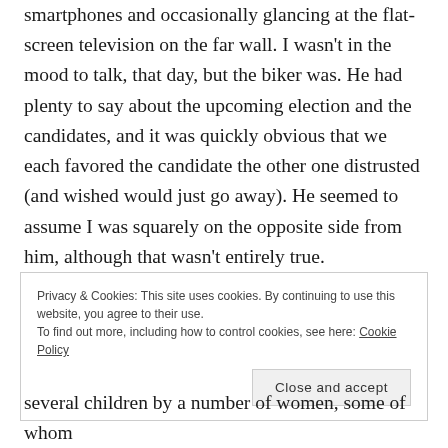smartphones and occasionally glancing at the flat-screen television on the far wall. I wasn't in the mood to talk, that day, but the biker was. He had plenty to say about the upcoming election and the candidates, and it was quickly obvious that we each favored the candidate the other one distrusted (and wished would just go away). He seemed to assume I was squarely on the opposite side from him, although that wasn't entirely true.
Privacy & Cookies: This site uses cookies. By continuing to use this website, you agree to their use. To find out more, including how to control cookies, see here: Cookie Policy
Close and accept
several children by a number of women, some of whom